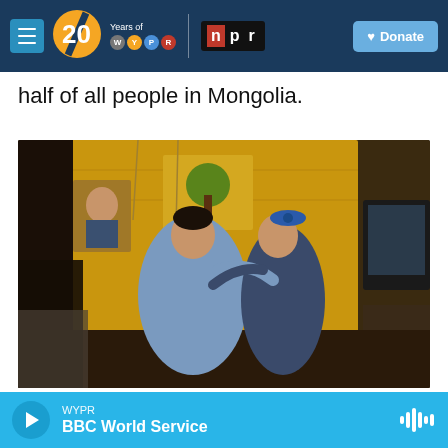WYPR 20 Years of WYPR | NPR | Donate
half of all people in Mongolia.
[Figure (photo): A woman and a young girl in traditional Mongolian dress share an emotional embrace inside a ger (yurt). The interior has a yellow fabric wall covering with decorative paintings and a TV visible in the background.]
Claire Harbage / NPR / NPR
WYPR BBC World Service